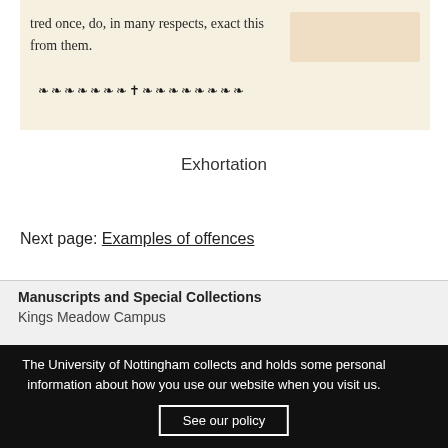[Figure (photo): Scanned image of an old printed manuscript page showing text ending with 'tred once, do, in many respects, exact this from them.' followed by a decorative ornamental divider line.]
Exhortation
Next page: Examples of offences
Manuscripts and Special Collections
Kings Meadow Campus
The University of Nottingham collects and holds some personal information about how you use our website when you visit us.
See our policy